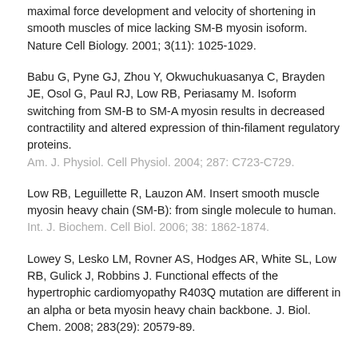maximal force development and velocity of shortening in smooth muscles of mice lacking SM-B myosin isoform. Nature Cell Biology. 2001; 3(11): 1025-1029.
Babu G, Pyne GJ, Zhou Y, Okwuchukuasanya C, Brayden JE, Osol G, Paul RJ, Low RB, Periasamy M. Isoform switching from SM-B to SM-A myosin results in decreased contractility and altered expression of thin-filament regulatory proteins. Am. J. Physiol. Cell Physiol. 2004; 287: C723-C729.
Low RB, Leguillette R, Lauzon AM. Insert smooth muscle myosin heavy chain (SM-B): from single molecule to human. Int. J. Biochem. Cell Biol. 2006; 38: 1862-1874.
Lowey S, Lesko LM, Rovner AS, Hodges AR, White SL, Low RB, Gulick J, Robbins J. Functional effects of the hypertrophic cardiomyopathy R403Q mutation are different in an alpha or beta myosin heavy chain backbone. J. Biol. Chem. 2008; 283(29): 20579-89.
Selected Awards